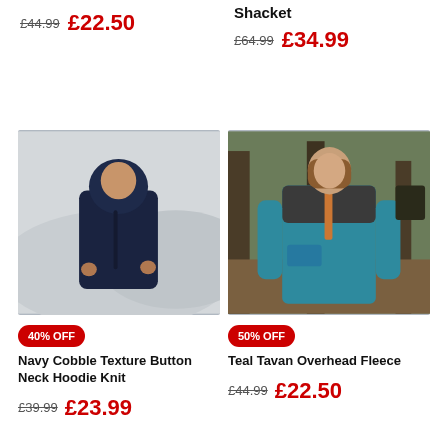£44.99  £22.50
Shacket
£64.99  £34.99
[Figure (photo): Man wearing a navy hooded knit jacket standing in a misty outdoor setting]
[Figure (photo): Woman wearing a teal and dark overhead fleece jacket standing in a forest]
40% OFF
50% OFF
Navy Cobble Texture Button Neck Hoodie Knit
Teal Tavan Overhead Fleece
£39.99  £23.99
£44.99  £22.50